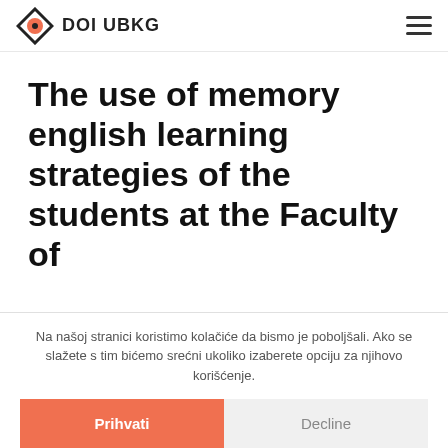DOI UBKG
The use of memory english learning strategies of the students at the Faculty of
Na našoj stranici koristimo kolačiće da bismo je poboljšali. Ako se slažete s tim bićemo srećni ukoliko izaberete opciju za njihovo korišćenje.
Prihvati
Decline